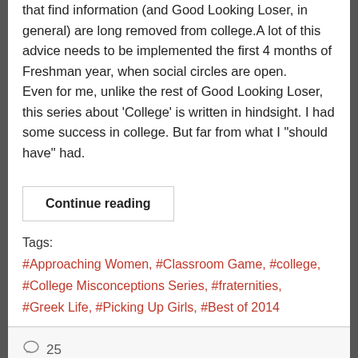that find information (and Good Looking Loser, in general) are long removed from college.A lot of this advice needs to be implemented the first 4 months of Freshman year, when social circles are open.
Even for me, unlike the rest of Good Looking Loser, this series about 'College' is written in hindsight. I had some success in college. But far from what I "should have" had.
Continue reading
Tags:
#Approaching Women, #Classroom Game, #college, #College Misconceptions Series, #fraternities, #Greek Life, #Picking Up Girls, #Best of 2014
25